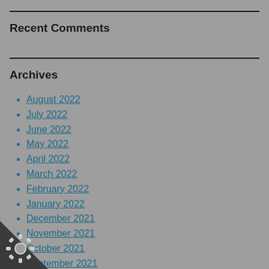Recent Comments
Archives
August 2022
July 2022
June 2022
May 2022
April 2022
March 2022
February 2022
January 2022
December 2021
November 2021
October 2021
September 2021
August 2021
July 2021
June 2021